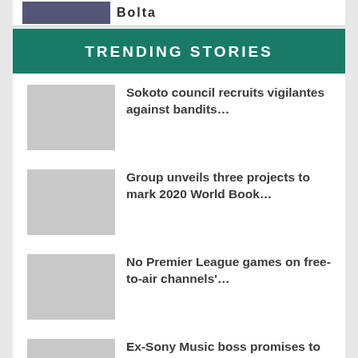[Figure (photo): Top strip with thumbnail image and bold text partially visible]
TRENDING STORIES
Sokoto council recruits vigilantes against bandits...
Group unveils three projects to mark 2020 World Book...
No Premier League games on free-to-air channels'...
Ex-Sony Music boss promises to develop Nigeria's...